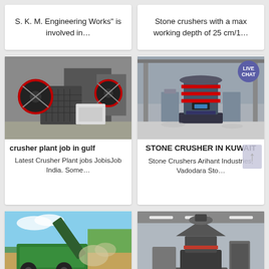S. K. M. Engineering Works" is involved in...
Stone crushers with a max working depth of 25 cm/1...
[Figure (photo): Industrial jaw crusher machines with large flywheels in a factory setting]
crusher plant job in gulf
Latest Crusher Plant jobs JobisJob India. Some...
[Figure (photo): Large vertical stone crusher machine in an industrial hall with a LIVE CHAT badge overlay]
STONE CRUSHER IN KUWAIT
Stone Crushers Arihant Industries, Vadodara Sto...
[Figure (photo): Green mobile crusher plant with conveyor belt outdoors]
[Figure (photo): Large industrial cone crusher machine in a factory warehouse]